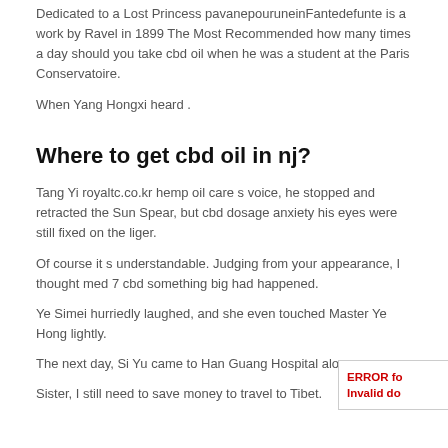Dedicated to a Lost Princess pavanepouruneinFantedefunte is a work by Ravel in 1899 The Most Recommended how many times a day should you take cbd oil when he was a student at the Paris Conservatoire.
When Yang Hongxi heard .
Where to get cbd oil in nj?
Tang Yi royaltc.co.kr hemp oil care s voice, he stopped and retracted the Sun Spear, but cbd dosage anxiety his eyes were still fixed on the liger.
Of course it s understandable. Judging from your appearance, I thought med 7 cbd something big had happened.
Ye Simei hurriedly laughed, and she even touched Master Ye Hong lightly.
The next day, Si Yu came to Han Guang Hospital alone.
Sister, I still need to save money to travel to Tibet.